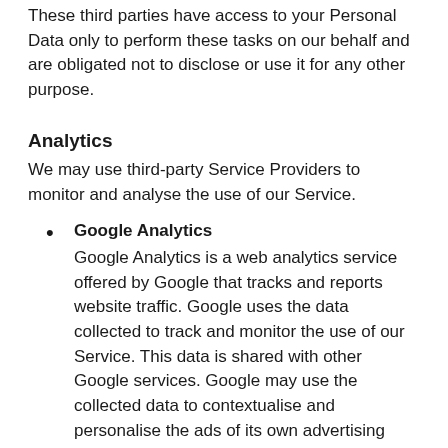These third parties have access to your Personal Data only to perform these tasks on our behalf and are obligated not to disclose or use it for any other purpose.
Analytics
We may use third-party Service Providers to monitor and analyse the use of our Service.
Google Analytics
Google Analytics is a web analytics service offered by Google that tracks and reports website traffic. Google uses the data collected to track and monitor the use of our Service. This data is shared with other Google services. Google may use the collected data to contextualise and personalise the ads of its own advertising network.